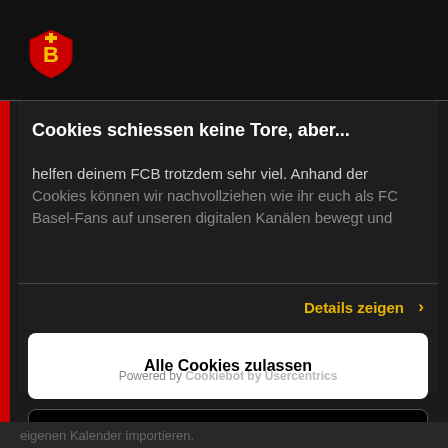[Figure (logo): FC Basel shield/crest logo in red and yellow on dark header background]
Cookies schiessen keine Tore, aber...
helfen deinem FCB trotzdem sehr viel. Anhand der Cookies können wir nachvollziehen wie ihr euch als FC Basel-Fans auf unseren digitalen Kanälen bewegt und
Details zeigen
Alle Cookies zulassen
Nur notwendige Cookies zulassen
Powered by Cookiebot by Usercentrics
eigenen Kalender importieren.